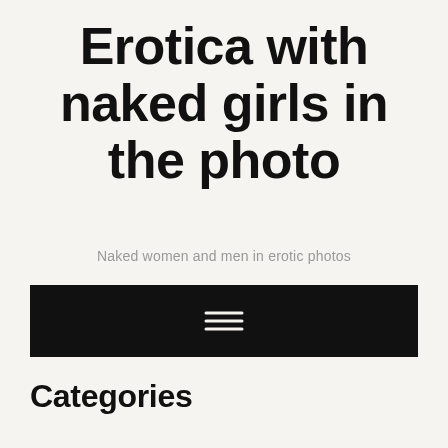Erotica with naked girls in the photo
Naked women and men in erotic photos
[Figure (other): Black navigation bar with hamburger menu icon (three horizontal white lines)]
Categories